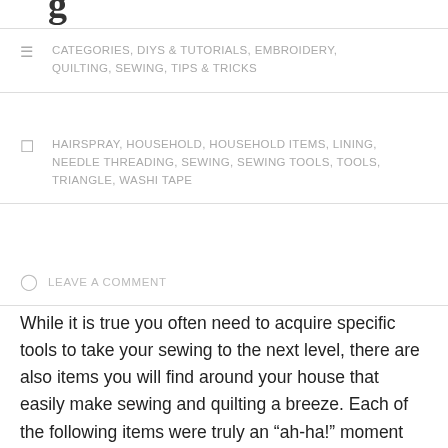g
CATEGORIES, DIYS & TUTORIALS, EMBROIDERY, QUILTING, SEWING, TIPS & TRICKS
HAIRSPRAY, HOUSEHOLD, HOUSEHOLD ITEMS, LINING, NEEDLE THREADING, SEWING, SEWING TOOLS, TOOLS, TRIANGLE, WASHI TAPE
LEAVE A COMMENT
While it is true you often need to acquire specific tools to take your sewing to the next level, there are also items you will find around your house that easily make sewing and quilting a breeze. Each of the following items were truly an “ah-ha!” moment when I discovered them. I hope they help you too.